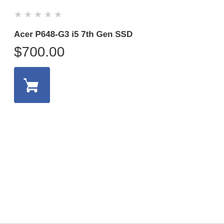[Figure (other): Five empty star rating icons in light gray]
Acer P648-G3 i5 7th Gen SSD
$700.00
[Figure (other): Blue square button with white shopping cart icon]